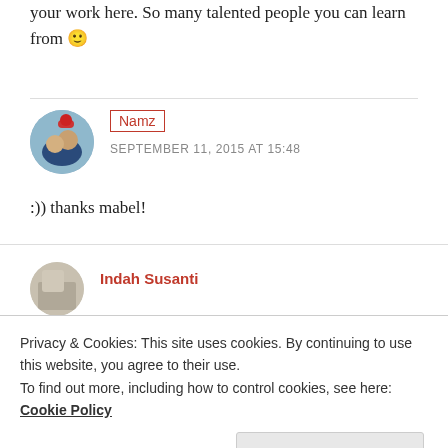your work here. So many talented people you can learn from 🙂
Namz
SEPTEMBER 11, 2015 AT 15:48
:)) thanks mabel!
Indah Susanti
Privacy & Cookies: This site uses cookies. By continuing to use this website, you agree to their use.
To find out more, including how to control cookies, see here: Cookie Policy
Close and accept
difficulties in finding jobs in the NL or in Indonesia, I